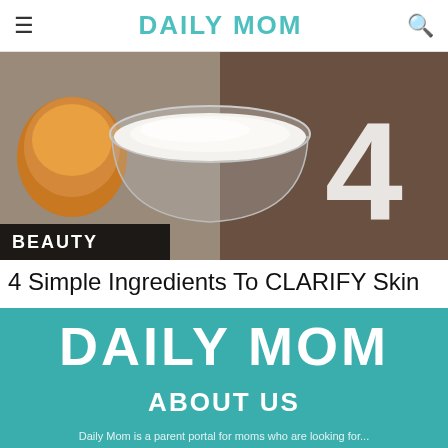≡  DAILY MOM  🔍
[Figure (photo): Photo of a glass bowl of white cream/lotion with honey and the number 4 visible on a wooden surface, with a BEAUTY badge overlay]
4 Simple Ingredients To CLARIFY Skin
DAILY MOM
ABOUT US
Daily Mom is a parent portal for moms who are looking for...